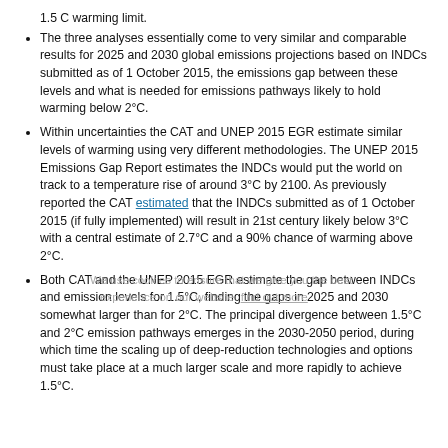1.5 C warming limit.
The three analyses essentially come to very similar and comparable results for 2025 and 2030 global emissions projections based on INDCs submitted as of 1 October 2015, the emissions gap between these levels and what is needed for emissions pathways likely to hold warming below 2°C.
Within uncertainties the CAT and UNEP 2015 EGR estimate similar levels of warming using very different methodologies. The UNEP 2015 Emissions Gap Report estimates the INDCs would put the world on track to a temperature rise of around 3°C by 2100. As previously reported the CAT estimated that the INDCs submitted as of 1 October 2015 (if fully implemented) will result in 21st century likely below 3°C with a central estimate of 2.7°C and a 90% chance of warming above 2°C.
Both CAT and the UNEP 2015 EGR estimate the gap between INDCs and emission levels for 1.5°C, finding the gaps in 2025 and 2030 somewhat larger than for 2°C. The principal divergence between 1.5°C and 2°C emission pathways emerges in the 2030-2050 period, during which time the scaling up of deep-reduction technologies and options must take place at a much larger scale and more rapidly to achieve 1.5°C.